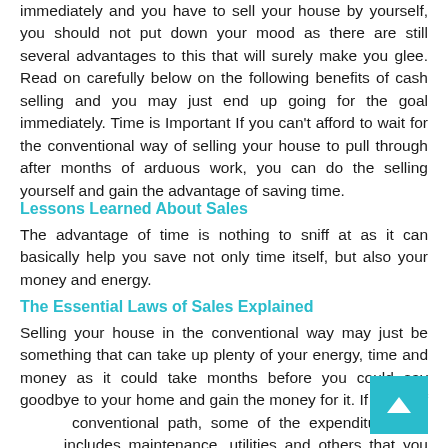immediately and you have to sell your house by yourself, you should not put down your mood as there are still several advantages to this that will surely make you glee. Read on carefully below on the following benefits of cash selling and you may just end up going for the goal immediately. Time is Important If you can't afford to wait for the conventional way of selling your house to pull through after months of arduous work, you can do the selling yourself and gain the advantage of saving time.
Lessons Learned About Sales
The advantage of time is nothing to sniff at as it can basically help you save not only time itself, but also your money and energy.
The Essential Laws of Sales Explained
Selling your house in the conventional way may just be something that can take up plenty of your energy, time and money as it could take months before you could say goodbye to your home and gain the money for it. If you go for the conventional path, some of the expenditures mentioned includes maintenance, utilities and others that you could save